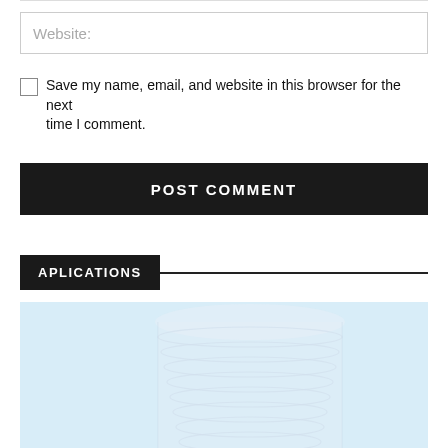Website:
Save my name, email, and website in this browser for the next time I comment.
POST COMMENT
APLICATIONS
[Figure (photo): Faded image of a modern curved glass building/skyscraper with a light blue sky background]